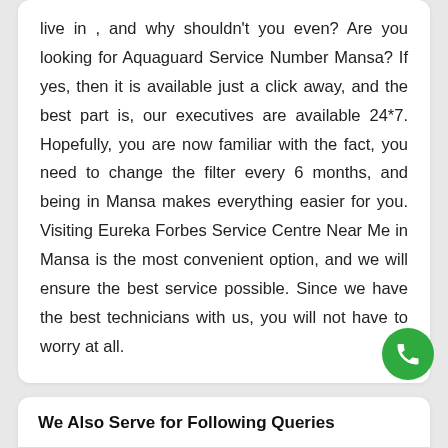live in , and why shouldn't you even? Are you looking for Aquaguard Service Number Mansa? If yes, then it is available just a click away, and the best part is, our executives are available 24*7. Hopefully, you are now familiar with the fact, you need to change the filter every 6 months, and being in Mansa makes everything easier for you. Visiting Eureka Forbes Service Centre Near Me in Mansa is the most convenient option, and we will ensure the best service possible. Since we have the best technicians with us, you will not have to worry at all.
We Also Serve for Following Queries
Aquaguard Service Mansa
Aquaguard Servic...